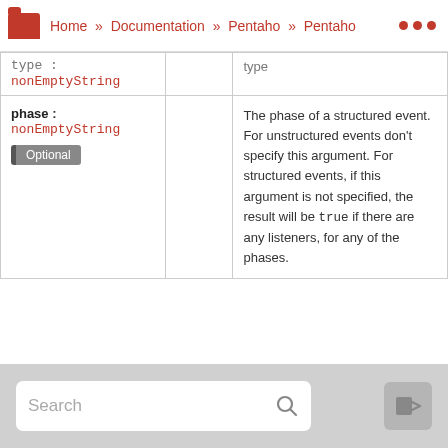Home » Documentation » Pentaho » Pentaho
| Name |  | Description |
| --- | --- | --- |
| type : nonEmptyString |  | type |
| phase : nonEmptyString
Optional |  | The phase of a structured event. For unstructured events don't specify this argument. For structured events, if this argument is not specified, the result will be true if there are any listeners, for any of the phases. |
Returns:
| Name | Description |
| --- | --- |
| boolean | true if the event has any listeners for the given event type and phase; false, otherwise. |
Search